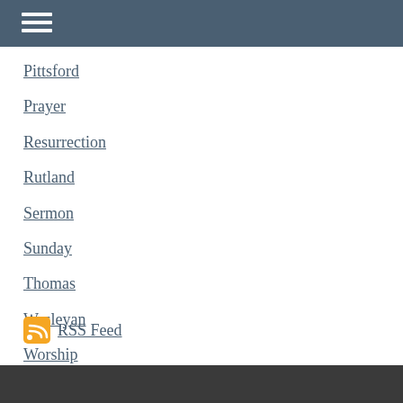☰
Pittsford
Prayer
Resurrection
Rutland
Sermon
Sunday
Thomas
Wesleyan
Worship
RSS Feed